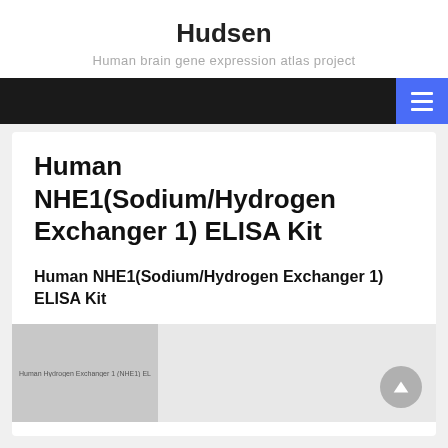Hudsen
Human brain gene expression atlas project
Human NHE1(Sodium/Hydrogen Exchanger 1) ELISA Kit
Human NHE1(Sodium/Hydrogen Exchanger 1) ELISA Kit
[Figure (photo): Product image showing Human NHE1 (Sodium/Hydrogen Exchanger 1) ELISA Kit packaging, partially visible on left side in grey]